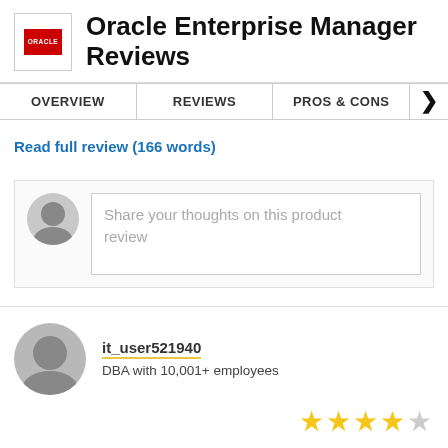Oracle Enterprise Manager Reviews
OVERVIEW | REVIEWS | PROS & CONS
Read full review (166 words)
Share your thoughts on this product review
it_user521940
DBA with 10,001+ employees